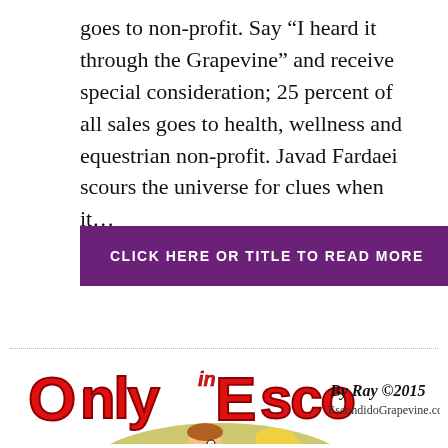goes to non-profit. Say “I heard it through the Grapevine” and receive special consideration; 25 percent of all sales goes to health, wellness and equestrian non-profit. Javad Fardaei scours the universe for clues when it…
CLICK HERE OR TITLE TO READ MORE
[Figure (illustration): Only in Esco comic strip logo and cartoon illustration. Logo reads 'Only in Esco' in red stylized lettering with 'in' in smaller text. Byline reads 'By Ray ©2015 EscondidoGrapevine.com'. Below is a cartoon of two characters reading a newspaper.]